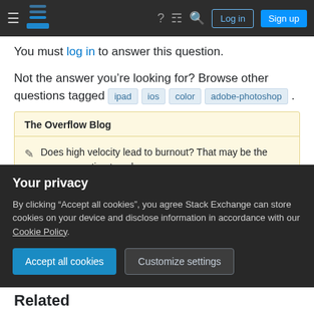Stack Exchange navigation bar with hamburger, logo, help, chat, search, log in, sign up
You must log in to answer this question.
Not the answer you’re looking for? Browse other questions tagged ipad ios color adobe-photoshop .
The Overflow Blog
Does high velocity lead to burnout? That may be the wrong question to ask.
Why AI is having an on-prem moment (Ep. 476)
Featured on Meta
Your privacy
By clicking “Accept all cookies”, you agree Stack Exchange can store cookies on your device and disclose information in accordance with our Cookie Policy.
Accept all cookies
Customize settings
Related